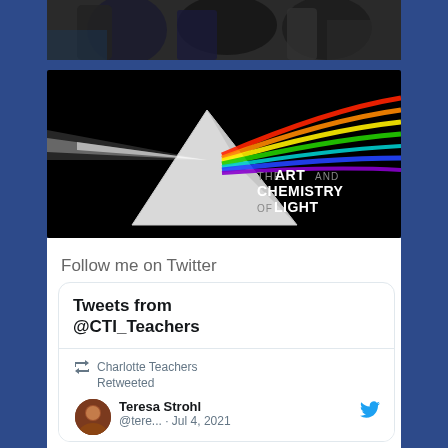[Figure (photo): Top portion of a photo showing people at an event, partially cropped]
[Figure (photo): Dark background image with a white prism/pyramid dispersing light into a rainbow spectrum. Text reads 'THE ART AND CHEMISTRY OF LIGHT']
Follow me on Twitter
Tweets from @CTI_Teachers
Charlotte Teachers Retweeted
Teresa Strohl
@tere... · Jul 4, 2021